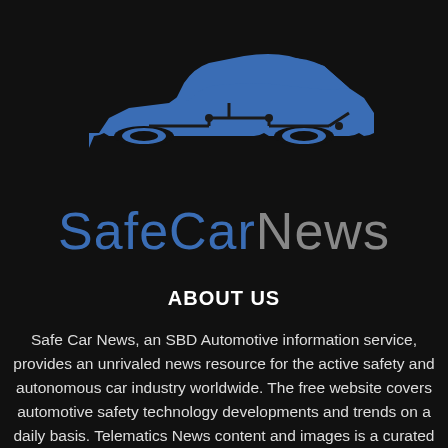[Figure (logo): SafeCarNews logo: a blue silhouette of a car with circuit-board line patterns overlaid, on a dark background]
SafeCarNews
ABOUT US
Safe Car News, an SBD Automotive information service, provides an unrivaled news resource for the active safety and autonomous car industry worldwide. The free website covers automotive safety technology developments and trends on a daily basis. Telematics News content and images is a curated collection of publicly available automotive industry press releases and articles, and are neither created or endorsed by